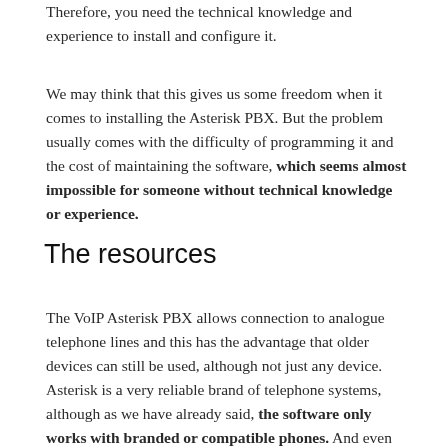Therefore, you need the technical knowledge and experience to install and configure it.
We may think that this gives us some freedom when it comes to installing the Asterisk PBX. But the problem usually comes with the difficulty of programming it and the cost of maintaining the software, which seems almost impossible for someone without technical knowledge or experience.
The resources
The VoIP Asterisk PBX allows connection to analogue telephone lines and this has the advantage that older devices can still be used, although not just any device. Asterisk is a very reliable brand of telephone systems, although as we have already said, the software only works with branded or compatible phones. And even